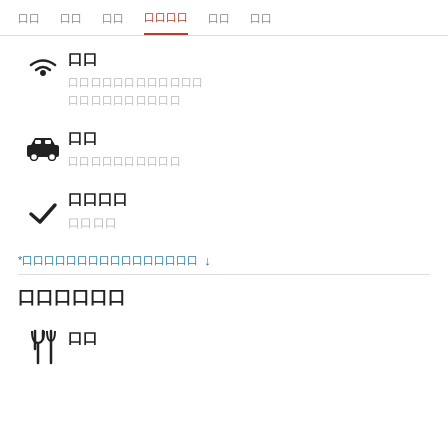口口  口口  口口  口口口口  口口  口口
口口
口口口口口口口口口口口口
口口口口口口口口口口
口口
口口口口口口口口口口
口口口口
口口口口
*口口口口口口口口口口口口口口口口 ↓
口口口口口口
口口